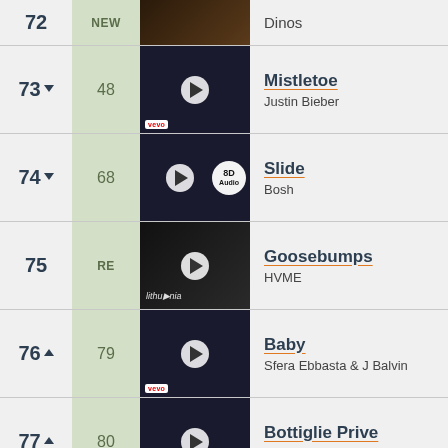72 NEW - Dinos
73 ▼ 48 - Mistletoe - Justin Bieber
74 ▼ 68 - Slide - Bosh
75 RE - Goosebumps - HVME
76 ▲ 79 - Baby - Sfera Ebbasta & J Balvin
77 ▲ 80 - Bottiglie Prive - Sfera Ebbasta